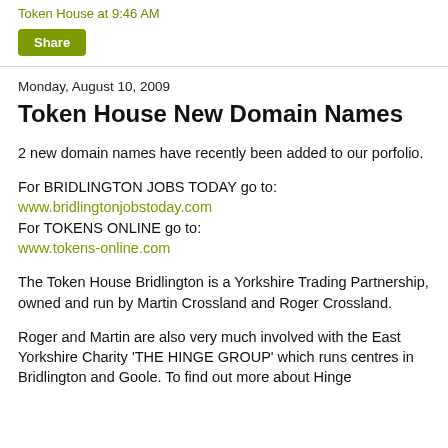Token House at 9:46 AM
Share
Monday, August 10, 2009
Token House New Domain Names
2 new domain names have recently been added to our porfolio.
For BRIDLINGTON JOBS TODAY go to:
www.bridlingtonjobstoday.com
For TOKENS ONLINE go to:
www.tokens-online.com
The Token House Bridlington is a Yorkshire Trading Partnership, owned and run by Martin Crossland and Roger Crossland.
Roger and Martin are also very much involved with the East Yorkshire Charity 'THE HINGE GROUP' which runs centres in Bridlington and Goole. To find out more about Hinge